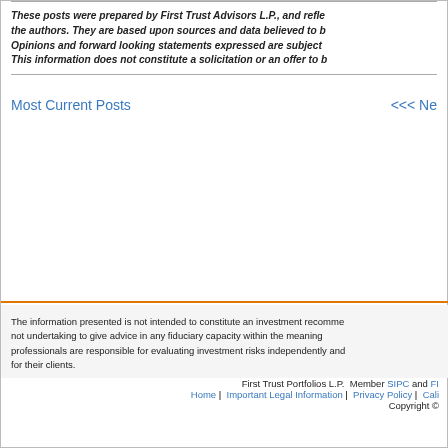These posts were prepared by First Trust Advisors L.P., and reflect the views of the authors. They are based upon sources and data believed to be accurate and reliable. Opinions and forward looking statements expressed are subject to change without notice. This information does not constitute a solicitation or an offer to buy or sell any security.
Most Current Posts
<<< Ne
The information presented is not intended to constitute an investment recommendation, and is not undertaking to give advice in any fiduciary capacity within the meaning of ERISA. Financial professionals are responsible for evaluating investment risks independently and for their clients.
First Trust Portfolios L.P.  Member SIPC and FI
Home |  Important Legal Information |  Privacy Policy |  Cali
Copyright ©